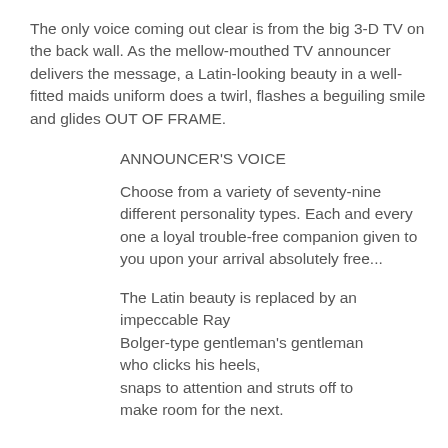The only voice coming out clear is from the big 3-D TV on the back wall. As the mellow-mouthed TV announcer delivers the message, a Latin-looking beauty in a well-fitted maids uniform does a twirl, flashes a beguiling smile and glides OUT OF FRAME.
ANNOUNCER'S VOICE
Choose from a variety of seventy-nine different personality types. Each and every one a loyal trouble-free companion given to you upon your arrival absolutely free...
The Latin beauty is replaced by an impeccable Ray
Bolger-type gentleman's gentleman
who clicks his heels,
snaps to attention and struts off to
make room for the next.